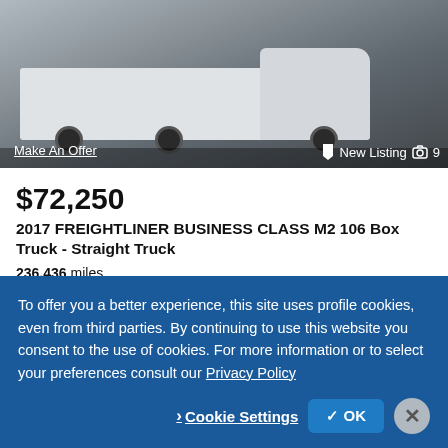[Figure (photo): White Freightliner Business Class M2 106 box truck / straight truck photographed from the front-left angle in a parking area]
Make An Offer
New Listing  📷 9
$72,250
2017 FREIGHTLINER BUSINESS CLASS M2 106 Box Truck - Straight Truck
236,436 miles
PENSKE USED TRUCKS - JESSUP, MD - Website 🔗
Jessup, MD - 38 mi. away
Email
Call
To offer you a better experience, this site uses profile cookies, even from third parties. By continuing to use this website you consent to the use of cookies. For more information or to select your preferences consult our Privacy Policy
Cookie Settings
✓ OK